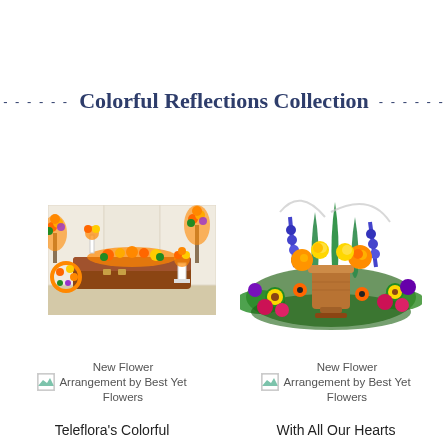Colorful Reflections Collection
[Figure (photo): Funeral casket scene with colorful flower arrangements including wreath, casket spray, standing sprays, and pedestal arrangement in a white chapel setting]
[Figure (photo): Colorful urn arrangement with sunflowers, blue delphiniums, yellow roses, orange lilies, pink and purple flowers surrounding a bronze urn]
[Figure (illustration): Small broken image icon with text: New Flower Arrangement by Best Yet Flowers]
Teleflora's Colorful
[Figure (illustration): Small broken image icon with text: New Flower Arrangement by Best Yet Flowers]
With All Our Hearts